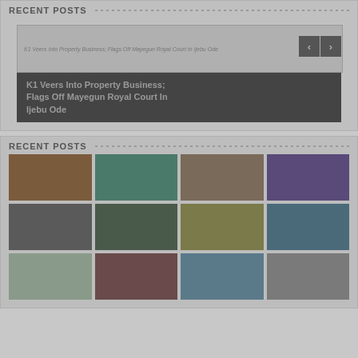RECENT POSTS
[Figure (photo): Slider showing article image with navigation arrows and caption: K1 Veers Into Property Business; Flags Off Mayegun Royal Court In Ijebu Ode]
RECENT POSTS
[Figure (photo): Grid of 12 thumbnail images representing recent posts articles]